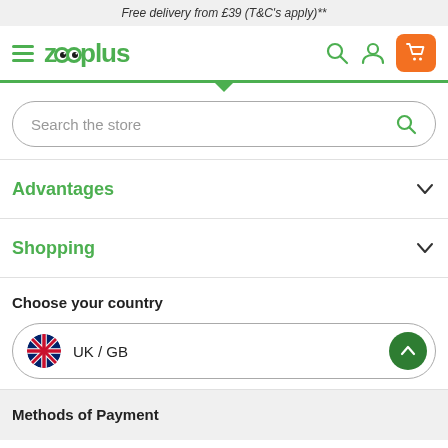Free delivery from £39 (T&C's apply)**
[Figure (screenshot): Zooplus navigation bar with hamburger menu, logo, search icon, account icon, and orange cart icon]
[Figure (screenshot): Search bar with placeholder text 'Search the store' and green search icon]
Advantages
Shopping
Choose your country
[Figure (screenshot): Country selector dropdown showing UK / GB with UK flag and green up arrow button]
Methods of Payment